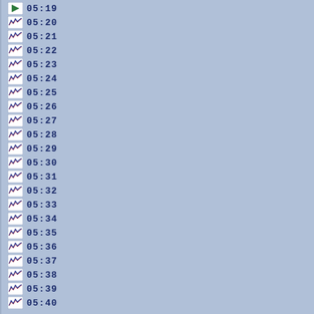05:19
05:20
05:21
05:22
05:23
05:24
05:25
05:26
05:27
05:28
05:29
05:30
05:31
05:32
05:33
05:34
05:35
05:36
05:37
05:38
05:39
05:40